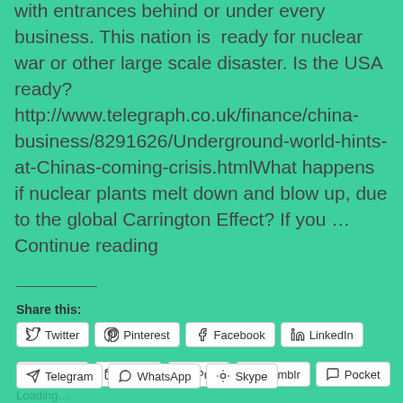with entrances behind or under every business. This nation is ready for nuclear war or other large scale disaster. Is the USA ready? http://www.telegraph.co.uk/finance/china-business/8291626/Underground-world-hints-at-Chinas-coming-crisis.htmlWhat happens if nuclear plants melt down and blow up, due to the global Carrington Effect? If you ... Continue reading
Share this:
Twitter
Pinterest
Facebook
LinkedIn
Reddit
Email
Print
Tumblr
Pocket
Telegram
WhatsApp
Skype
Loading…